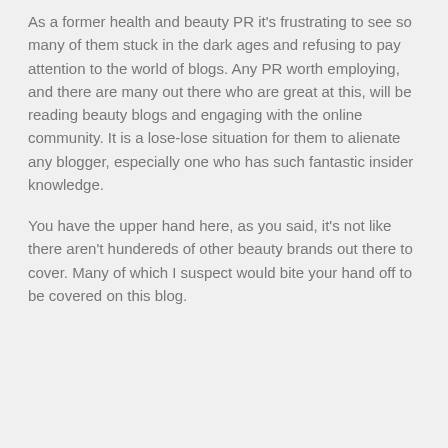As a former health and beauty PR it's frustrating to see so many of them stuck in the dark ages and refusing to pay attention to the world of blogs. Any PR worth employing, and there are many out there who are great at this, will be reading beauty blogs and engaging with the online community. It is a lose-lose situation for them to alienate any blogger, especially one who has such fantastic insider knowledge.
You have the upper hand here, as you said, it's not like there aren't hundereds of other beauty brands out there to cover. Many of which I suspect would bite your hand off to be covered on this blog.